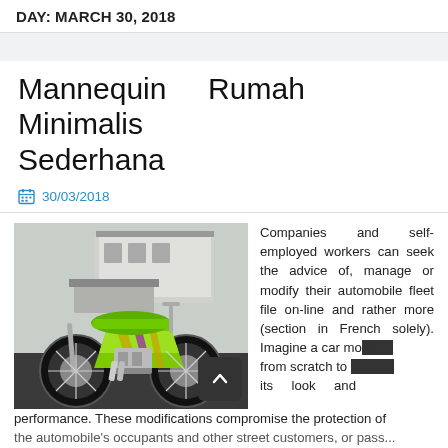DAY: MARCH 30, 2018
Mannequin Rumah Minimalis Sederhana
30/03/2018
[Figure (photo): A custom green chopper motorcycle with chrome wheels and colorful paint, parked outdoors with a trailer in the background.]
Companies and self-employed workers can seek the advice of, manage or modify their automobile fleet file on-line and rather more (section in French solely). Imagine a car modified from scratch to change its look and performance. These modifications compromise the protection of the automobile's occupants and other street customers, or pass...